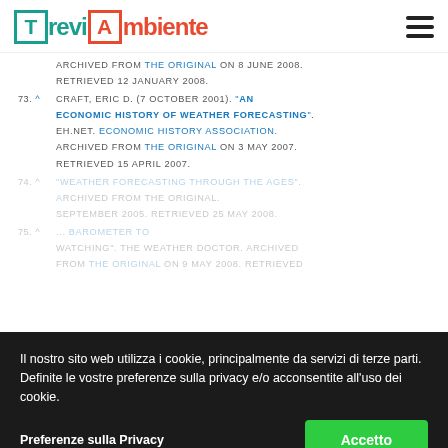TreviAmbiente
ARCHIVED FROM THE ORIGINAL ON 8 JUNE 2008. RETRIEVED 12 JANUARY 2008.
73. ^ CRAFT, ERIC D. (7 OCTOBER 2001). "AN ECONOMIC HISTORY OF WEATHER FORECASTING". EH.NET. ECONOMIC HISTORY ASSOCIATION. ARCHIVED FROM THE ORIGINAL ON 3 MAY 2007. RETRIEVED 15 APRIL 2007.
74. ^ "WEATHER FORECASTING THROUGH THE AGES". ARCHIVED FROM THE ORIGINAL. SEPTEMBER 2005. RETRIEVED 25 MAY 2008.
75. ^ ... BAROMETER TO WEATHER WATCHING". THE WEATHER DOCTOR. ARCHIVED FROM THE ORIGINAL ON 9 MAY 2008. RETRIEVED
Il nostro sito web utilizza i cookie, principalmente da servizi di terze parti. Definite le vostre preferenze sulla privacy e/o acconsentite all'uso dei cookie.
Preferenze sulla Privacy
Accetto